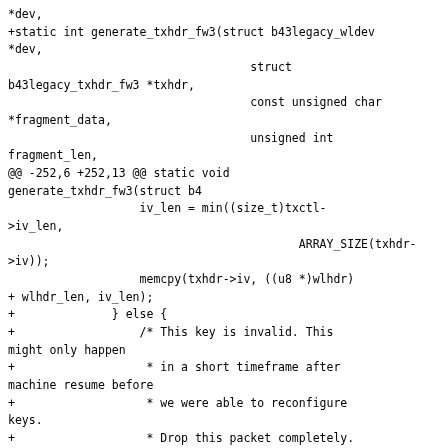*dev,
+static int generate_txhdr_fw3(struct b43legacy_wldev *dev,
                                   struct b43legacy_txhdr_fw3 *txhdr,
                                   const unsigned char *fragment_data,
                                   unsigned int fragment_len,
@@ -252,6 +252,13 @@ static void generate_txhdr_fw3(struct b4
                   iv_len = min((size_t)txctl->iv_len,
                                          ARRAY_SIZE(txhdr->iv));
                   memcpy(txhdr->iv, ((u8 *)wlhdr)
+ wlhdr_len, iv_len);
+              } else {
+                  /* This key is invalid. This might only happen
+                   * in a short timeframe after machine resume before
+                   * we were able to reconfigure keys.
+                   * Drop this packet completely. Do not transmit it
+                   * unencrypted to avoid leaking information. */
+                  return -ENOKEY;
              }